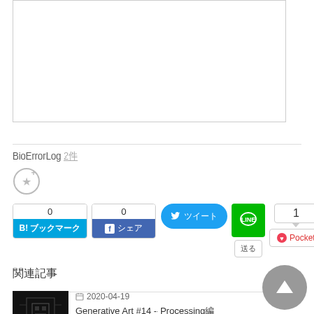[Figure (screenshot): White bordered content box at top of page]
BioErrorLog 2件
[Figure (other): Star/add-to-favorites icon (circle with plus and star)]
[Figure (other): Social sharing buttons row: Hatena Bookmark (0), Facebook (0), Twitter share, LINE, count bubble (1), LINE send, Pocket]
関連記事
2020-04-19
Generative Art #14 - Processing編
[Figure (screenshot): Article thumbnail: black background with circuit/maze pattern]
[Figure (other): Scroll to top button (gray circle with white up arrow)]